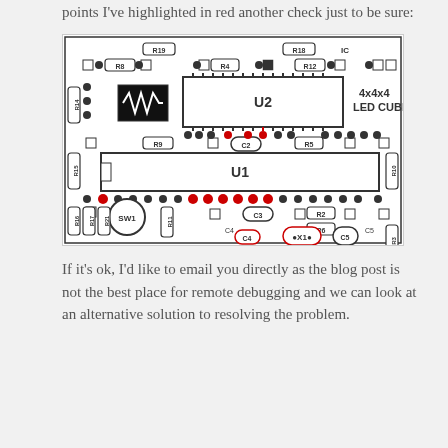points I've highlighted in red another check just to be sure:
[Figure (engineering-diagram): PCB layout diagram of a 4x4x4 LED Cube board showing component placements including U1, U2 ICs, resistors R1-R21, capacitors C2-C5, switch SW1, crystal X1, diode D4, and various test points. Some points are highlighted in red.]
If it's ok, I'd like to email you directly as the blog post is not the best place for remote debugging and we can look at an alternative solution to resolving the problem.